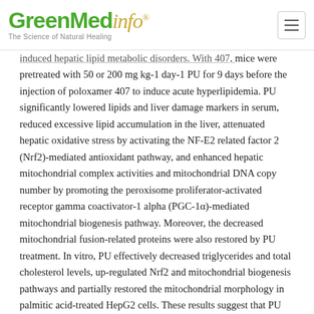GreenMedinfo® — The Science of Natural Healing
induced hepatic lipid metabolic disorders. With 407, mice were pretreated with 50 or 200 mg kg-1 day-1 PU for 9 days before the injection of poloxamer 407 to induce acute hyperlipidemia. PU significantly lowered lipids and liver damage markers in serum, reduced excessive lipid accumulation in the liver, attenuated hepatic oxidative stress by activating the NF-E2 related factor 2 (Nrf2)-mediated antioxidant pathway, and enhanced hepatic mitochondrial complex activities and mitochondrial DNA copy number by promoting the peroxisome proliferator-activated receptor gamma coactivator-1 alpha (PGC-1α)-mediated mitochondrial biogenesis pathway. Moreover, the decreased mitochondrial fusion-related proteins were also restored by PU treatment. In vitro, PU effectively decreased triglycerides and total cholesterol levels, up-regulated Nrf2 and mitochondrial biogenesis pathways and partially restored the mitochondrial morphology in palmitic acid-treated HepG2 cells. These results suggest that PU could improve acute hyperlipidemia-induced hepatic lipid metabolic abnormalities via decreasing